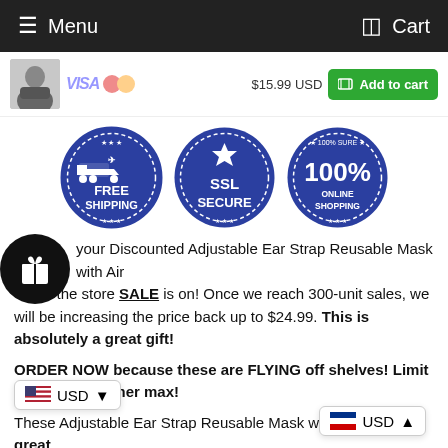Menu   Cart
[Figure (screenshot): Product thumbnail of person wearing gray face mask]
$15.99 USD
Add to cart
[Figure (infographic): Three circular badges: FREE SHIPPING, SSL SECURE, 100% ONLINE SHOPPING]
your Discounted Adjustable Ear Strap Reusable Mask with Air while the store SALE is on! Once we reach 300-unit sales, we will be increasing the price back up to $24.99. This is absolutely a great gift!
ORDER NOW because these are FLYING off shelves! Limit to 8 per customer max!
These Adjustable Ear Strap Reusable Mask with Air Valve are great lts! They are thick, anti-wind, and anti-air ackage com r. Excellent breathability and extra c weight material allows you